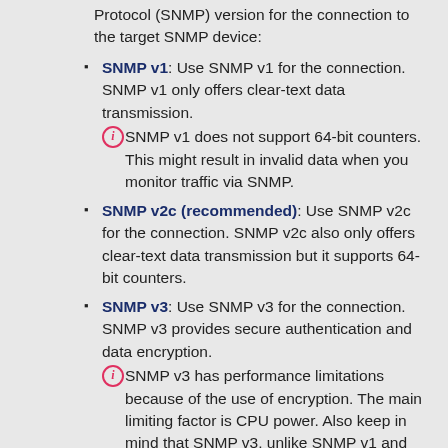Protocol (SNMP) version for the connection to the target SNMP device:
SNMP v1: Use SNMP v1 for the connection. SNMP v1 only offers clear-text data transmission. SNMP v1 does not support 64-bit counters. This might result in invalid data when you monitor traffic via SNMP.
SNMP v2c (recommended): Use SNMP v2c for the connection. SNMP v2c also only offers clear-text data transmission but it supports 64-bit counters.
SNMP v3: Use SNMP v3 for the connection. SNMP v3 provides secure authentication and data encryption. SNMP v3 has performance limitations because of the use of encryption. The main limiting factor is CPU power. Also keep in mind that SNMP v3, unlike SNMP v1 and v2c, does not scale with more CPU power. Because of this limitation, PRTG can only handle a limited number of requests per second so that you can use only a limited number of sensors using